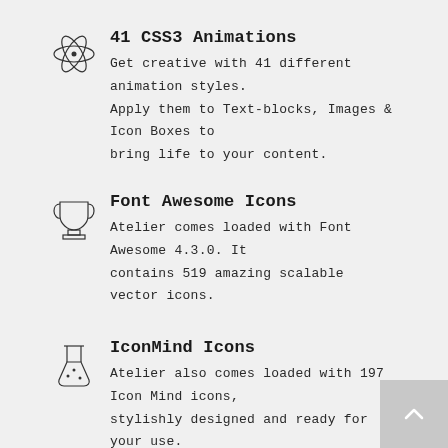[Figure (illustration): Atom/orbital icon — circular ring with orbiting electron paths]
41 CSS3 Animations
Get creative with 41 different animation styles. Apply them to Text-blocks, Images & Icon Boxes to bring life to your content.
[Figure (illustration): Trophy/cup icon]
Font Awesome Icons
Atelier comes loaded with Font Awesome 4.3.0. It contains 519 amazing scalable vector icons.
[Figure (illustration): Lab flask/beaker icon with bubbles]
IconMind Icons
Atelier also comes loaded with 197 Icon Mind icons, stylishly designed and ready for your use.